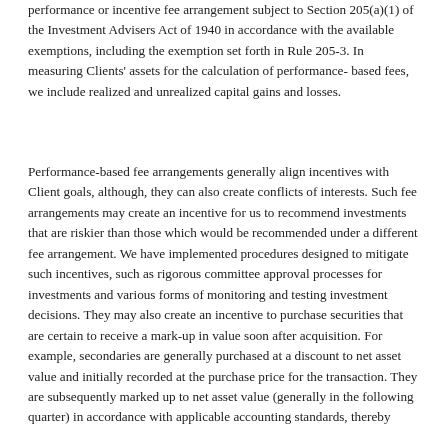performance or incentive fee arrangement subject to Section 205(a)(1) of the Investment Advisers Act of 1940 in accordance with the available exemptions, including the exemption set forth in Rule 205-3. In measuring Clients' assets for the calculation of performance- based fees, we include realized and unrealized capital gains and losses.
Performance-based fee arrangements generally align incentives with Client goals, although, they can also create conflicts of interests. Such fee arrangements may create an incentive for us to recommend investments that are riskier than those which would be recommended under a different fee arrangement. We have implemented procedures designed to mitigate such incentives, such as rigorous committee approval processes for investments and various forms of monitoring and testing investment decisions. They may also create an incentive to purchase securities that are certain to receive a mark-up in value soon after acquisition. For example, secondaries are generally purchased at a discount to net asset value and initially recorded at the purchase price for the transaction. They are subsequently marked up to net asset value (generally in the following quarter) in accordance with applicable accounting standards, thereby